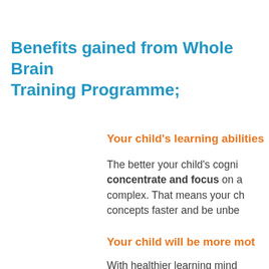Benefits gained from Whole Brain Training Programme;
Your child's learning abiliti…
The better your child's cogni… concentrate and focus on a… complex. That means your ch… concepts faster and be unbe…
Your child will be more mot…
With healthier learning mind…